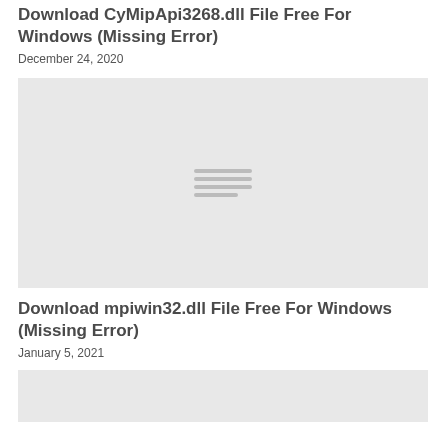Download CyMipApi3268.dll File Free For Windows (Missing Error)
December 24, 2020
[Figure (illustration): Placeholder image with hamburger menu icon lines in center]
Download mpiwin32.dll File Free For Windows (Missing Error)
January 5, 2021
[Figure (illustration): Placeholder image partially visible at bottom]